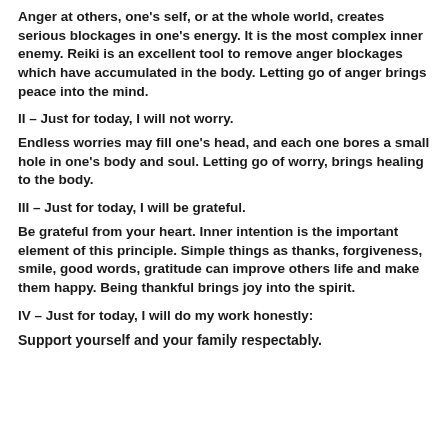Anger at others, one's self, or at the whole world, creates serious blockages in one's energy. It is the most complex inner enemy. Reiki is an excellent tool to remove anger blockages which have accumulated in the body. Letting go of anger brings peace into the mind.
II – Just for today, I will not worry.
Endless worries may fill one's head, and each one bores a small hole in one's body and soul. Letting go of worry, brings healing to the body.
III – Just for today, I will be grateful.
Be grateful from your heart. Inner intention is the important element of this principle. Simple things as thanks, forgiveness, smile, good words, gratitude can improve others life and make them happy. Being thankful brings joy into the spirit.
IV – Just for today, I will do my work honestly:
Support yourself and your family respectably.